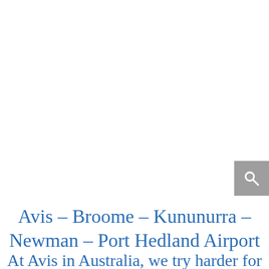[Figure (screenshot): Search button icon (magnifying glass) in grey square, positioned at right side]
Avis – Broome – Kununurra – Newman – Port Hedland Airport
At Avis in Australia, we try harder for